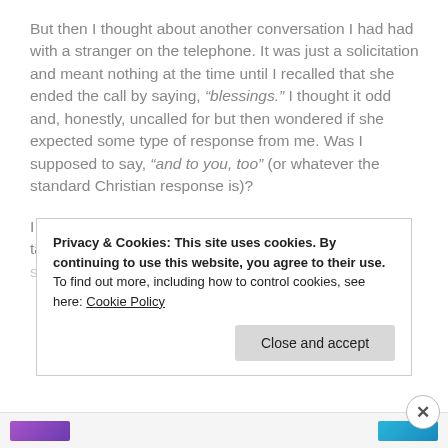But then I thought about another conversation I had had with a stranger on the telephone. It was just a solicitation and meant nothing at the time until I recalled that she ended the call by saying, “blessings.” I thought it odd and, honestly, uncalled for but then wondered if she expected some type of response from me. Was I supposed to say, “and to you, too” (or whatever the standard Christian response is)?
I certainly meant no disrespect but, rather, was quite taken by surprise because, in my life, that’s just not something people say to one another. It also goes back…
Privacy & Cookies: This site uses cookies. By continuing to use this website, you agree to their use.
To find out more, including how to control cookies, see here: Cookie Policy